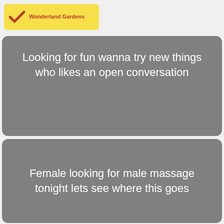[Figure (logo): Wonderland Gardens logo — yellow rounded rectangle with a red/orange checkmark icon on the left and red text 'Wonderland Gardens' on the right]
Looking for fun wanna try new things who likes an open conversation
Female looking for male massage tonight lets see where this goes